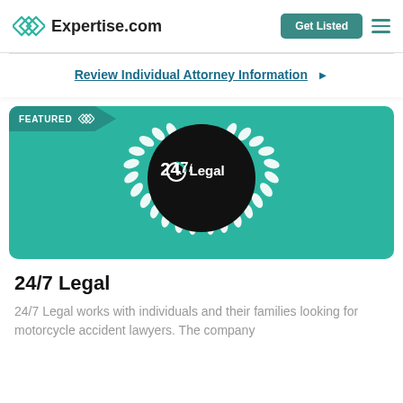Expertise.com | Get Listed
Review Individual Attorney Information ▶
[Figure (logo): 24/7 Legal featured card with teal background, laurel wreath, and circular black logo with '24/7 Legal' text and clock icon. 'FEATURED' badge in top left corner.]
24/7 Legal
24/7 Legal works with individuals and their families looking for motorcycle accident lawyers. The company